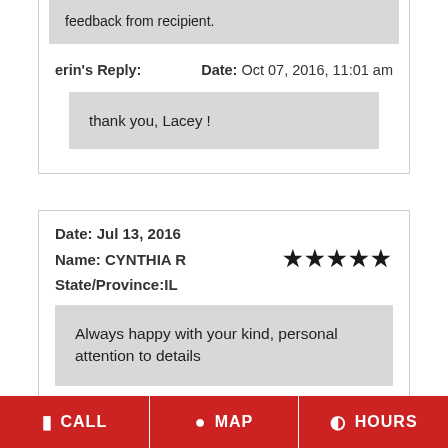feedback from recipient.
erin's Reply:   Date: Oct 07, 2016, 11:01 am
thank you, Lacey !
Date: Jul 13, 2016
Name: CYNTHIA R
State/Province: IL
Always happy with your kind, personal attention to details
Chuck's Reply:   Date: Jul 14, 2016, 12:06 pm
CALL   MAP   HOURS